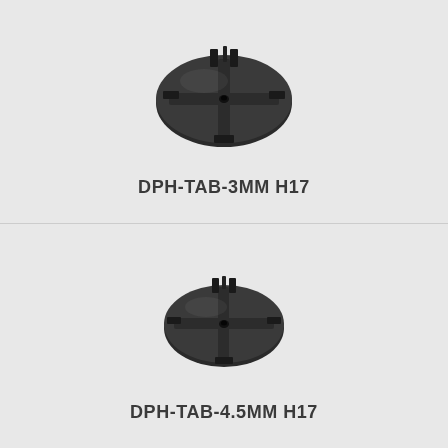[Figure (photo): Top-down photo of a round black plastic tile spacer with four tab fins and a center hole, product DPH-TAB-3MM H17]
DPH-TAB-3MM H17
[Figure (photo): Top-down photo of a round black plastic tile spacer with four tab fins and a center hole, slightly smaller appearance, product DPH-TAB-4.5MM H17]
DPH-TAB-4.5MM H17